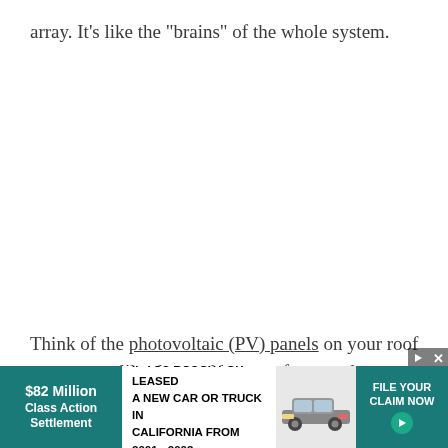array. It’s like the “brains” of the whole system.
Think of the photovoltaic (PV) panels on your roof or property like the workhorses of your solar setup. They are doing the work of capturing the sun’s ... al
[Figure (other): Advertisement banner: '$82 Million Class Action Settlement | IF YOU BOUGHT OR LEASED A NEW CAR OR TRUCK IN CALIFORNIA FROM 2001 - 2003 | FILE YOUR CLAIM NOW' with teal background and car image.]